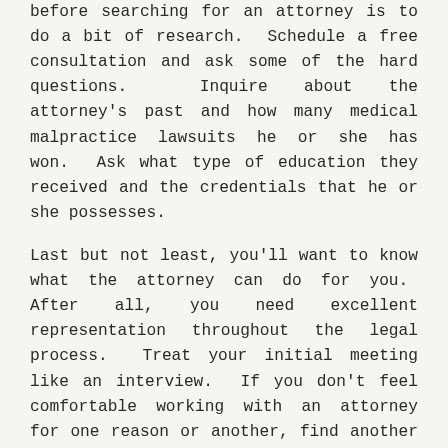before searching for an attorney is to do a bit of research.  Schedule a free consultation and ask some of the hard questions.  Inquire about the attorney's past and how many medical malpractice lawsuits he or she has won.  Ask what type of education they received and the credentials that he or she possesses.
Last but not least, you'll want to know what the attorney can do for you.  After all, you need excellent representation throughout the legal process.  Treat your initial meeting like an interview.  If you don't feel comfortable working with an attorney for one reason or another, find another candidate in your area.
To gain a better understanding about medical malpractice, it's important to know how to legally define it.  As with any other type of service, people are not always going to be happy with the outcome of a surgery